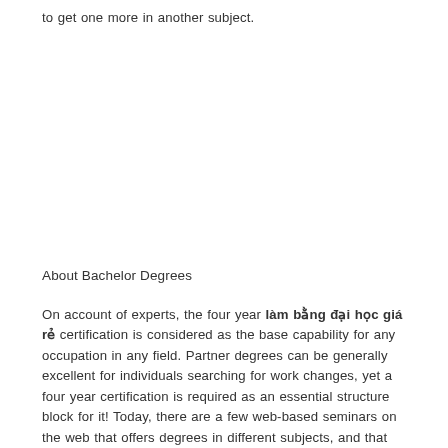to get one more in another subject.
About Bachelor Degrees
On account of experts, the four year làm bằng đại học giá rẻ certification is considered as the base capability for any occupation in any field. Partner degrees can be generally excellent for individuals searching for work changes, yet a four year certification is required as an essential structure block for it! Today, there are a few web-based seminars on the web that offers degrees in different subjects, and that too from rumored Universities everywhere. Some of them are the